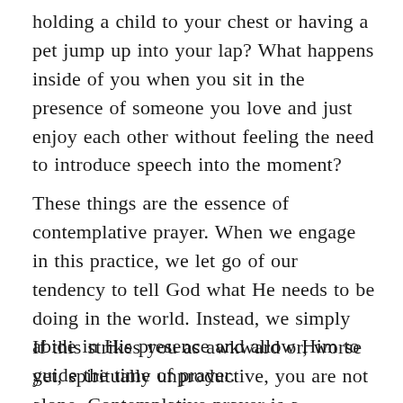holding a child to your chest or having a pet jump up into your lap? What happens inside of you when you sit in the presence of someone you love and just enjoy each other without feeling the need to introduce speech into the moment?
These things are the essence of contemplative prayer. When we engage in this practice, we let go of our tendency to tell God what He needs to be doing in the world. Instead, we simply abide in His presence and allow Him to guide the time of prayer.
If this strikes you as awkward or, worse yet, spiritually unproductive, you are not alone. Contemplative prayer is a mysterious act of